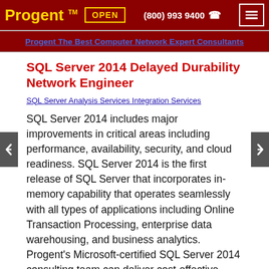Progent™  OPEN  (800) 993 9400  ☎
Progent The Best Computer Network Expert Consultants
SQL Server 2014 Delayed Durability Network Engineer
SQL Server Analysis Services Integration Services
SQL Server 2014 includes major improvements in critical areas including performance, availability, security, and cloud readiness. SQL Server 2014 is the first release of SQL Server that incorporates in-memory capability that operates seamlessly with all types of applications including Online Transaction Processing, enterprise data warehousing, and business analytics. Progent's Microsoft-certified SQL Server 2014 consulting team can deliver cost-effective remote and onsite consulting services including system design, deployment,